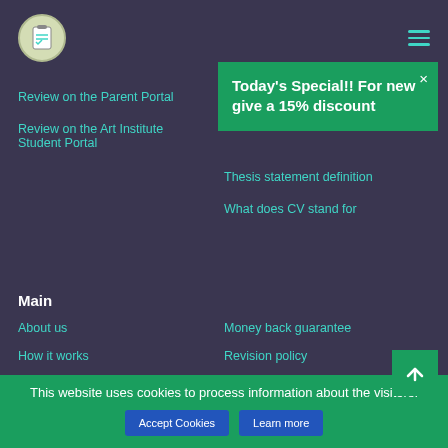[Figure (logo): Circular logo with a checklist/notepad icon on a light background]
[Figure (other): Hamburger menu icon (three horizontal teal lines)]
Review on the Parent Portal
Resume vs CV
Review on the Art Institute Student Portal
Thesis statement definition
What does CV stand for
Today's Special!! For new give a 15% discount
Main
About us
Money back guarantee
How it works
Revision policy
This website uses cookies to process information about visitors.
Accept Cookies
Learn more